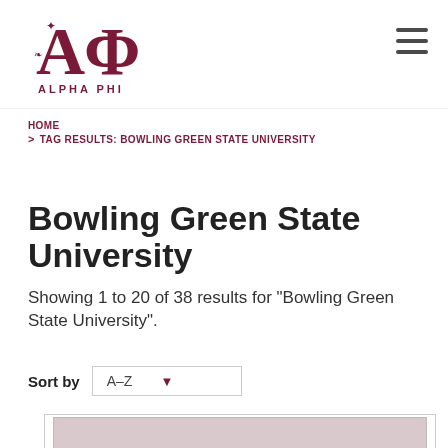[Figure (logo): Alpha Phi sorority logo — stylized AΦ letters with decorative floral elements, in dark maroon, with text ALPHA PHI below]
HOME
> TAG RESULTS: BOWLING GREEN STATE UNIVERSITY
Bowling Green State University
Showing 1 to 20 of 38 results for "Bowling Green State University".
Sort by   A-Z
[Figure (screenshot): Partial view of a card/article thumbnail with a muted pink/mauve background]